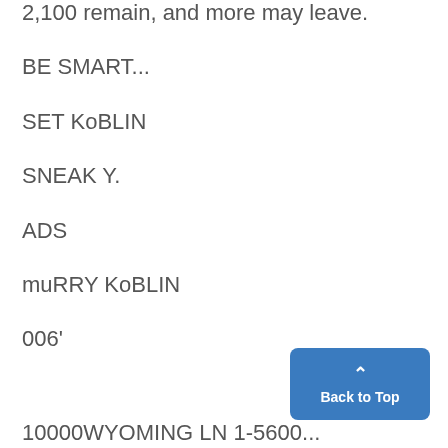2,100 remain, and more may leave.
BE SMART...
SET KoBLIN
SNEAK Y.
ADS
muRRY KoBLIN
006'
10000WYOMING LN 1-5600...
Back to Top